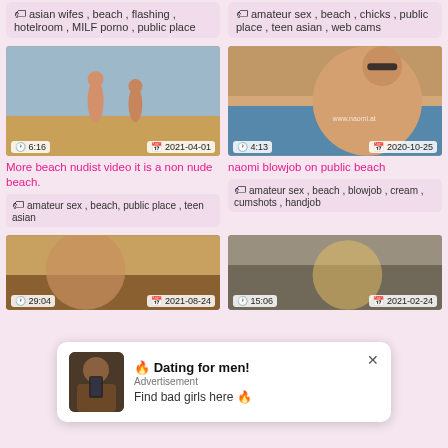asian wifes, beach, flashing, hotelroom, MILF porno, public place
amateur sex, beach, chicks, public place, teen asian, web cams
[Figure (photo): Video thumbnail showing two people on a beach. Duration: 6:16, Date: 2021-04-01]
[Figure (photo): Video thumbnail showing a woman with sunglasses on a beach. Duration: 4:13, Date: 2020-10-25]
More beach nudist video it is a non nude beach.
naomi blowjob on public beach
amateur sex, beach, public place, teen asian
amateur sex, beach, blowjob, cream, cumshots, handjob
[Figure (photo): Bottom left video thumbnail. Duration: 29:04, Date: 2021-08-24]
[Figure (photo): Bottom right video thumbnail. Duration: 15:06, Date: 2021-02-24]
🔥 Dating for men! Advertisement Find bad girls here 🔥